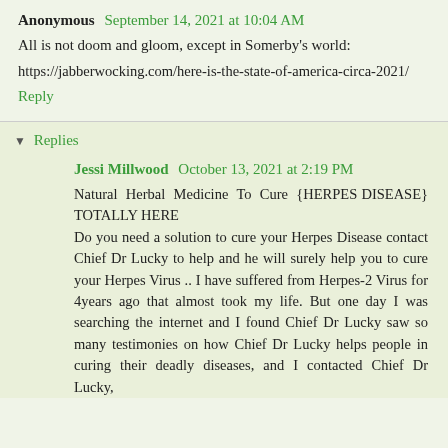Anonymous  September 14, 2021 at 10:04 AM
All is not doom and gloom, except in Somerby's world:
https://jabberwocking.com/here-is-the-state-of-america-circa-2021/
Reply
▾ Replies
Jessi Millwood  October 13, 2021 at 2:19 PM
Natural Herbal Medicine To Cure {HERPES DISEASE} TOTALLY HERE
Do you need a solution to cure your Herpes Disease contact Chief Dr Lucky to help and he will surely help you to cure your Herpes Virus .. I have suffered from Herpes-2 Virus for 4years ago that almost took my life. But one day I was searching the internet and I found Chief Dr Lucky saw so many testimonies on how Chief Dr Lucky helps people in curing their deadly diseases, and I contacted Chief Dr Lucky,